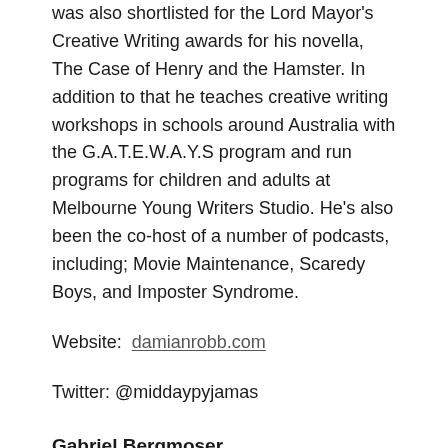was also shortlisted for the Lord Mayor's Creative Writing awards for his novella, The Case of Henry and the Hamster. In addition to that he teaches creative writing workshops in schools around Australia with the G.A.T.E.W.A.Y.S program and run programs for children and adults at Melbourne Young Writers Studio. He's also been the co-host of a number of podcasts, including; Movie Maintenance, Scaredy Boys, and Imposter Syndrome.
Website:  damianrobb.com
Twitter: @middaypyjamas
Gabriel Bergmoser
Gabriel Bergmoser is a Melbourne-based author and playwright. He won the prestigious Sir Peter Ustinov